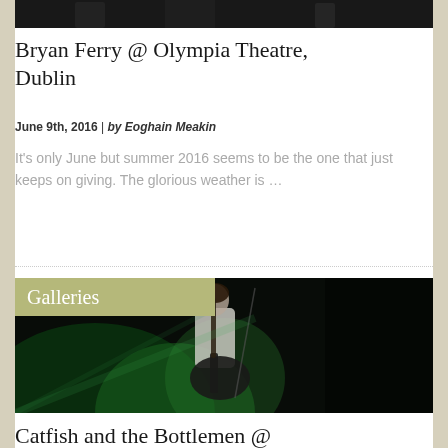[Figure (photo): Dark concert photo at top of page, partially visible]
Bryan Ferry @ Olympia Theatre, Dublin
June 9th, 2016 | by Eoghain Meakin
It's only June but summer 2016 seems to be the one that just keeps on giving. The glorious weather is …
[Figure (photo): Concert photo of guitarist on dark stage with green lighting, with 'Galleries' label overlay]
Catfish and the Bottlemen @ Olympia Theatre, Dublin